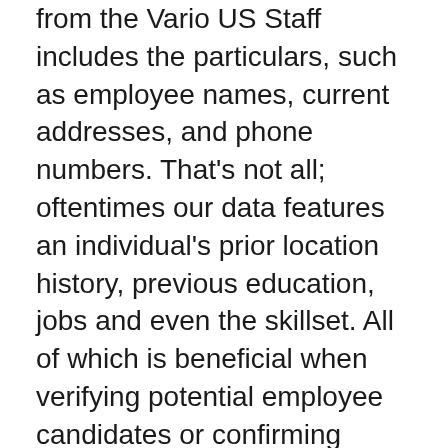from the Vario US Staff includes the particulars, such as employee names, current addresses, and phone numbers. That's not all; oftentimes our data features an individual's prior location history, previous education, jobs and even the skillset. All of which is beneficial when verifying potential employee candidates or confirming certain elements about someone. We also provide photographs of employees when possible, which is extremely helpful for putting a face with a name in the event that the specific individual you're searching for, has a common name.
The search features make it fast so you can get the results you need today, so you can